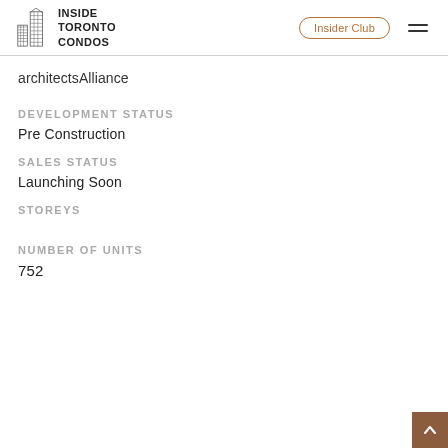Inside Toronto Condos | Insider Club
architectsAlliance
DEVELOPMENT STATUS
Pre Construction
SALES STATUS
Launching Soon
STOREYS
NUMBER OF UNITS
752